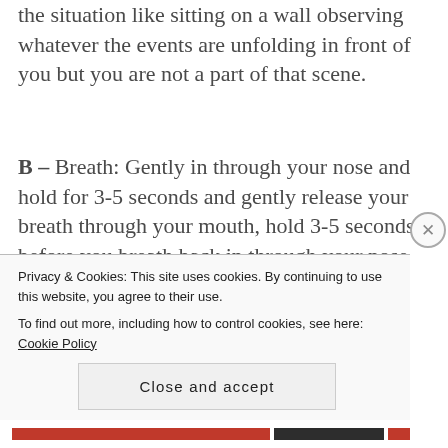the situation like sitting on a wall observing whatever the events are unfolding in front of you but you are not a part of that scene.
B – Breath: Gently in through your nose and hold for 3-5 seconds and gently release your breath through your mouth, hold 3-5 seconds before you breath back in through your nose again. Repeat this action 5-10 times.
E – Evaluate: How you now feel and note how your perspective on the situation has changed. The external situation may of not...
Privacy & Cookies: This site uses cookies. By continuing to use this website, you agree to their use. To find out more, including how to control cookies, see here: Cookie Policy
Close and accept